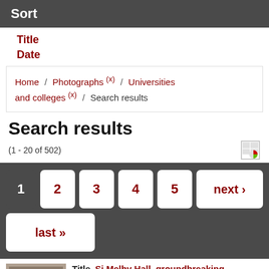Sort
Title
Date
Home / Photographs (x) / Universities and colleges (x) / Search results
Search results
(1 - 20 of 502)
1 2 3 4 5 next › last »
| Title | Si Melby Hall, groundbreaking |
| --- | --- |